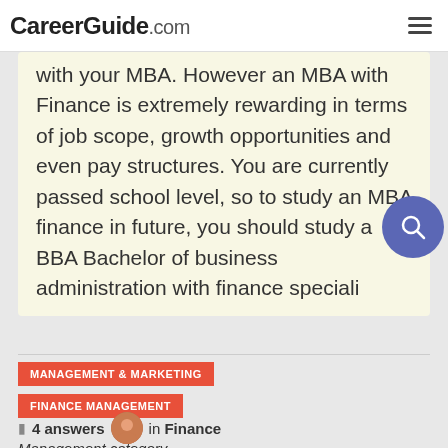CareerGuide.com
with your MBA. However an MBA with Finance is extremely rewarding in terms of job scope, growth opportunities and even pay structures. You are currently passed school level, so to study an MBA finance in future, you should study a BBA Bachelor of business administration with finance speciali
MANAGEMENT & MARKETING
FINANCE MANAGEMENT
4 answers in Finance
Management category